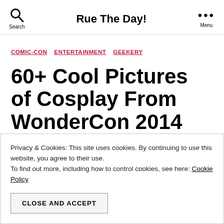Rue The Day!
COMIC-CON   ENTERTAINMENT   GEEKERY
60+ Cool Pictures of Cosplay From WonderCon 2014
Privacy & Cookies: This site uses cookies. By continuing to use this website, you agree to their use.
To find out more, including how to control cookies, see here: Cookie Policy
CLOSE AND ACCEPT